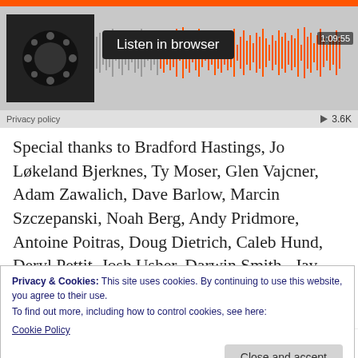[Figure (screenshot): SoundCloud embedded audio player with orange progress bar, album art, waveform, Listen in browser button, timestamp 1:09:55, Privacy policy label, and 3.6K play count]
Special thanks to Bradford Hastings, Jo Løkeland Bjerknes, Ty Moser, Glen Vajcner, Adam Zawalich, Dave Barlow, Marcin Szczepanski, Noah Berg, Andy Pridmore, Antoine Poitras, Doug Dietrich, Caleb Hund, Deryl Pettit, Josh Usher, Darwin Smith, Jay Neito. Aaron Jenson. Scott Barron. and Bryce
Privacy & Cookies: This site uses cookies. By continuing to use this website, you agree to their use.
To find out more, including how to control cookies, see here:
Cookie Policy
sticker, a weekly hang out, a random act of